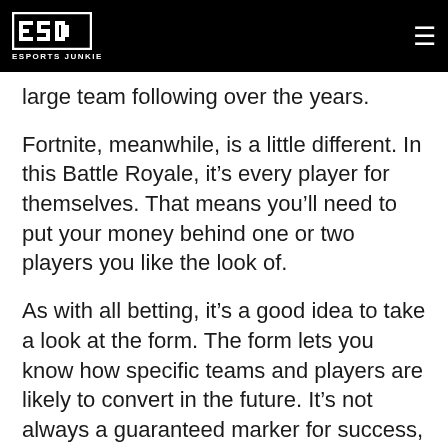ESPORTS JUNKIE
large team following over the years.
Fortnite, meanwhile, is a little different. In this Battle Royale, it’s every player for themselves. That means you’ll need to put your money behind one or two players you like the look of.
As with all betting, it’s a good idea to take a look at the form. The form lets you know how specific teams and players are likely to convert in the future. It’s not always a guaranteed marker for success, but it’s certainly worth doing your homework.
Esports is Wild and Varied